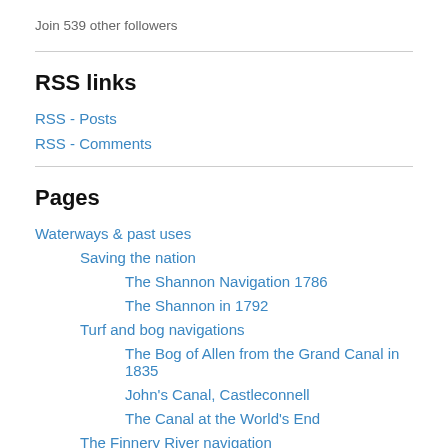Join 539 other followers
RSS links
RSS - Posts
RSS - Comments
Pages
Waterways & past uses
Saving the nation
The Shannon Navigation 1786
The Shannon in 1792
Turf and bog navigations
The Bog of Allen from the Grand Canal in 1835
John's Canal, Castleconnell
The Canal at the World's End
The Finnery River navigation